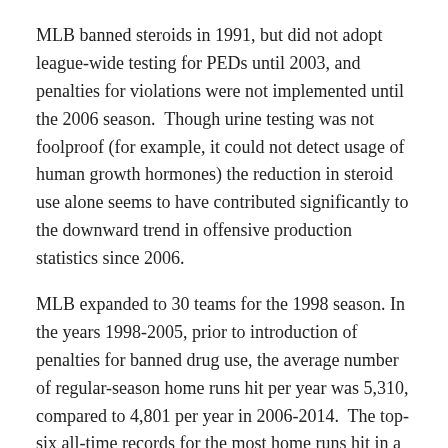MLB banned steroids in 1991, but did not adopt league-wide testing for PEDs until 2003, and penalties for violations were not implemented until the 2006 season.  Though urine testing was not foolproof (for example, it could not detect usage of human growth hormones) the reduction in steroid use alone seems to have contributed significantly to the downward trend in offensive production statistics since 2006.
MLB expanded to 30 teams for the 1998 season. In the years 1998-2005, prior to introduction of penalties for banned drug use, the average number of regular-season home runs hit per year was 5,310, compared to 4,801 per year in 2006-2014.  The top-six all-time records for the most home runs hit in a single regular season are held by three players tainted by alleged steroid use and came in 1998, 1999, and 2001.  Barry Bonds is the record-holder with 73 home runs.  By contrast, the most regular-season home runs hit by a player since 2006 is 54 and the leader for 2014 hit 40.
In 2014, MLB adopted the Carbon Isotope Mass Spectrometry test that can detect PEDs used within a two-week period rather than 24 hours and also made its drug use penalties even harsher.